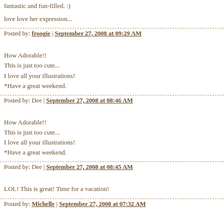fantastic and fun-filled. :)
love love her expression...
Posted by: froogie | September 27, 2008 at 09:29 AM
How Adorable!!
This is just too cute...
I love all your illustrations!
*Have a great weekend.
Posted by: Dee | September 27, 2008 at 08:46 AM
How Adorable!!
This is just too cute...
I love all your illustrations!
*Have a great weekend.
Posted by: Dee | September 27, 2008 at 08:45 AM
LOL! This is great! Time for a vacation!
Posted by: Michelle | September 27, 2008 at 07:32 AM